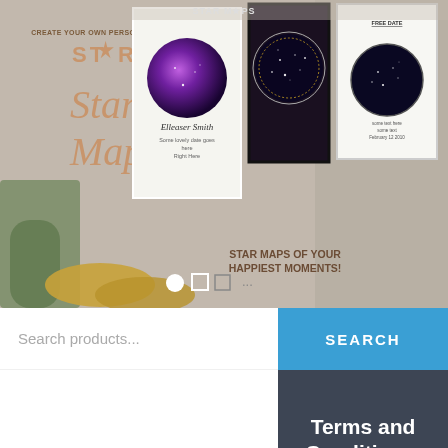[Figure (screenshot): Hero banner showing Star Maps Australia brand with decorative plant, cushions, and star map product examples including circular galaxy prints and framed star maps. Dots navigation indicator at bottom. Tagline 'STAR MAPS OF YOUR HAPPIEST MOMENTS!' visible on right side.]
Search products...
SEARCH
Terms and Conditions
The Terms and Conditions govern the use of this